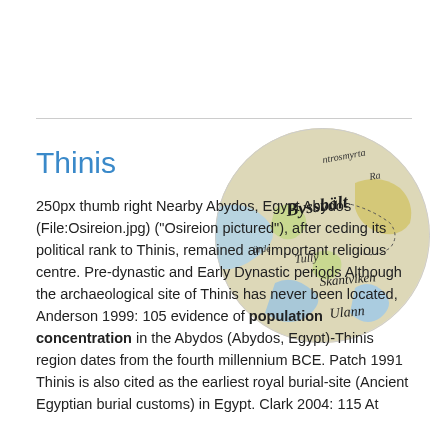Thinis
[Figure (map): Circular cropped historical map showing place names including Byssbält, Skantviken, Ulann, and other Scandinavian-looking toponyms, appearing to be an old Swedish or Nordic regional map.]
250px thumb right Nearby Abydos, Egypt Abydos (File:Osireion.jpg) ("Osireion pictured"), after ceding its political rank to Thinis, remained an important religious centre. Pre-dynastic and Early Dynastic periods Although the archaeological site of Thinis has never been located, Anderson 1999: 105 evidence of population concentration in the Abydos (Abydos, Egypt)-Thinis region dates from the fourth millennium BCE. Patch 1991 Thinis is also cited as the earliest royal burial-site (Ancient Egyptian burial customs) in Egypt. Clark 2004: 115 At